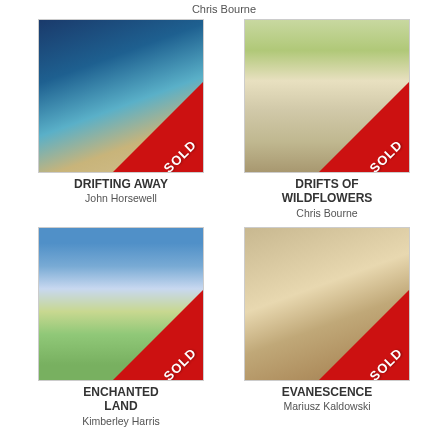Chris Bourne
[Figure (photo): Painting of a boat on a beach at night with turquoise water, marked SOLD]
DRIFTING AWAY
John Horsewell
[Figure (photo): Painting of a woodland path with wildflowers, soft light, marked SOLD]
DRIFTS OF WILDFLOWERS
Chris Bourne
[Figure (photo): Painting of a field with poppies and wildflowers under cloudy sky, marked SOLD]
ENCHANTED LAND
Kimberley Harris
[Figure (photo): Painting of white wildflowers in warm tones, marked SOLD]
EVANESCENCE
Mariusz Kaldowski